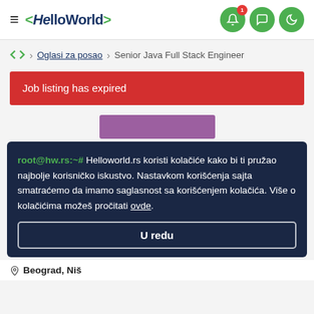< HelloWorld >
Oglasi za posao > Senior Java Full Stack Engineer
Job listing has expired
root@hw.rs:~# Helloworld.rs koristi kolačiće kako bi ti pružao najbolje korisničko iskustvo. Nastavkom korišćenja sajta smatraćemo da imamo saglasnost sa korišćenjem kolačića. Više o kolačićima možeš pročitati ovde.
U redu
Beograd, Niš